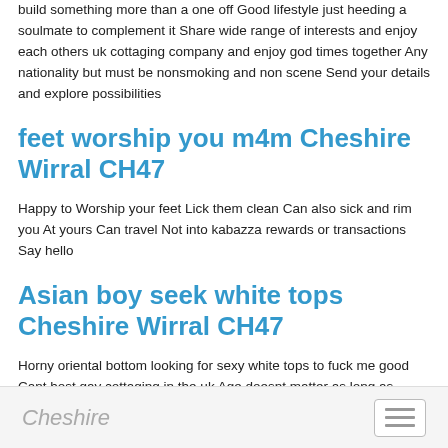build something more than a one off Good lifestyle just heeding a soulmate to complement it Share wide range of interests and enjoy each others uk cottaging company and enjoy god times together Any nationality but must be nonsmoking and non scene Send your details and explore possibilities
feet worship you m4m Cheshire Wirral CH47
Happy to Worship your feet Lick them clean Can also sick and rim you At yours Can travel Not into kabazza rewards or transactions Say hello
Asian boy seek white tops Cheshire Wirral CH47
Horny oriental bottom looking for sexy white tops to fuck me good Cant host gay cottaging in the uk Age doesnt matter as long as youre sexy Message me with Facepic I will send in return
Cheshire